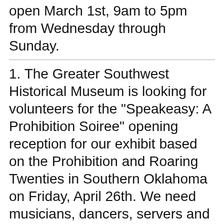open March 1st, 9am to 5pm from Wednesday through Sunday.
1. The Greater Southwest Historical Museum is looking for volunteers for the "Speakeasy: A Prohibition Soiree" opening reception for our exhibit based on the Prohibition and Roaring Twenties in Southern Oklahoma on Friday, April 26th. We need musicians, dancers, servers and general help with the party. Anyone interested and with stories of bootlegging, stills, flappers or history during this time can write to me at